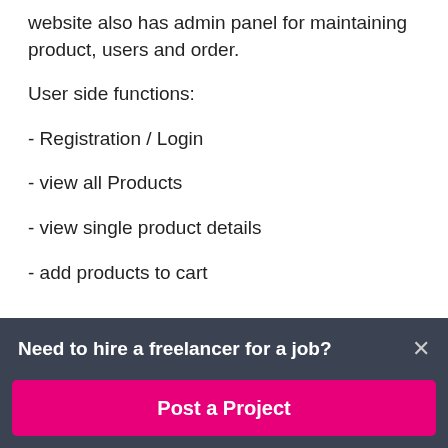website also has admin panel for maintaining product, users and order.
User side functions:
- Registration / Login
- view all Products
- view single product details
- add products to cart
Need to hire a freelancer for a job?
Post a Project